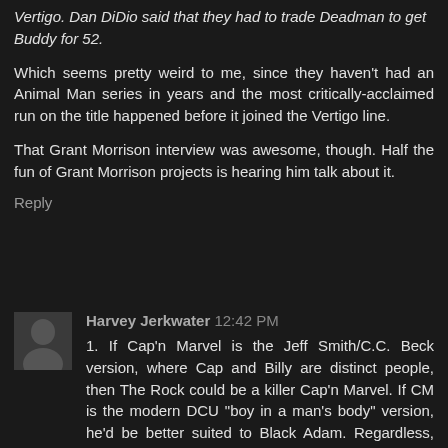Vertigo. Dan DiDio said that they had to trade Deadman to get Buddy for 52.
Which seems pretty weird to me, since they haven't had an Animal Man series in years and the most critically-acclaimed run on the title happened before it joined the Vertigo line.
That Grant Morrison interview was awesome, though. Half the fun of Grant Morrison projects is hearing him talk about it.
Reply
Harvey Jerkwater 12:42 PM
1. If Cap'n Marvel is the Jeff Smith/C.C. Beck version, where Cap and Billy are distinct people, then The Rock could be a killer Cap'n Marvel. If CM is the modern DCU "boy in a man's body" version, he'd be better suited to Black Adam. Regardless, boo-yah.